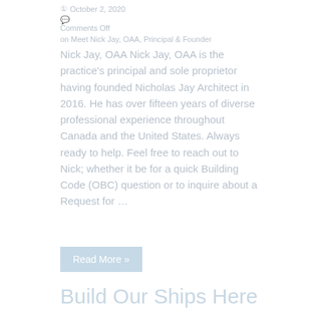October 2, 2020
Comments Off
on Meet Nick Jay, OAA, Principal & Founder
Nick Jay, OAA Nick Jay, OAA is the practice's principal and sole proprietor having founded Nicholas Jay Architect in 2016. He has over fifteen years of diverse professional experience throughout Canada and the United States. Always ready to help. Feel free to reach out to Nick; whether it be for a quick Building Code (OBC) question or to inquire about a Request for …
Read More »
Build Our Ships Here